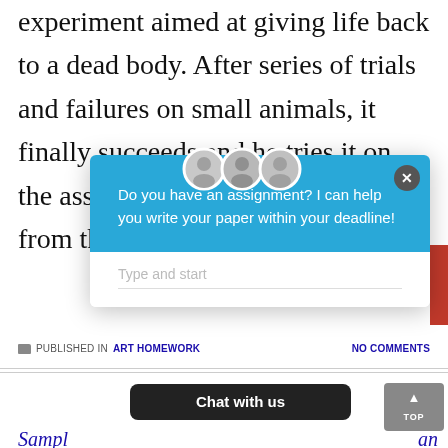experiment aimed at giving life back to a dead body. After series of trials and failures on small animals, it finally succeeds and he tries it on the assembled body he collected from th... s hi...
[Figure (screenshot): A popup modal with blue header containing text: 'Do you have an assignment? I can help you write your paper within your deadline!' with a close button (x) and a text input field saying 'Type and start'. Quora-style user icon avatars visible at top of modal. A red sidebar element is visible on the right edge.]
PUBLISHED IN ART HOMEWORK   NO COMMENTS
[Figure (screenshot): A dark rounded rectangle button labeled 'Chat with us']
Sampl... an